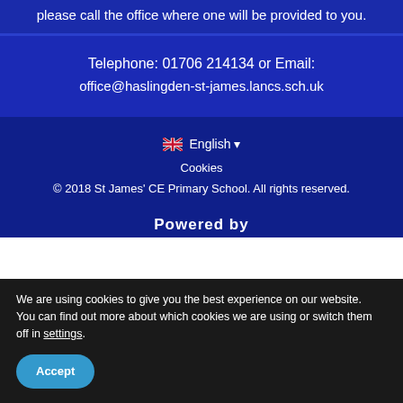please call the office where one will be provided to you.
Telephone: 01706 214134 or Email: office@haslingden-st-james.lancs.sch.uk
🇬🇧 English ▾
Cookies
© 2018 St James' CE Primary School. All rights reserved.
Powered by
We are using cookies to give you the best experience on our website.
You can find out more about which cookies we are using or switch them off in settings.
Accept